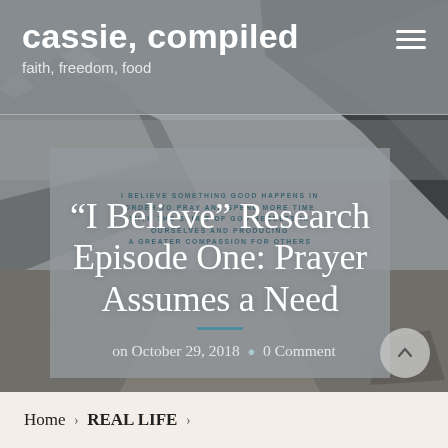cassie, compiled — faith, freedom, food
[Figure (photo): Mountain landscape background photo showing rocky peaks, snow, and a gravel path with overcast sky]
“I Believe” Research Episode One: Prayer Assumes a Need
I BELIEVE SOMETHING GOOD HAPPENS IN ORDER TO PRAY AND SPEND MORE TIME WITH THE SPIRIT OF GOD RESULTS IN OURSELVES AND PRODUCING A GREATER COMPASSION FOR OTHERS
on October 29, 2018 • 0 Comment
Home > REAL LIFE >